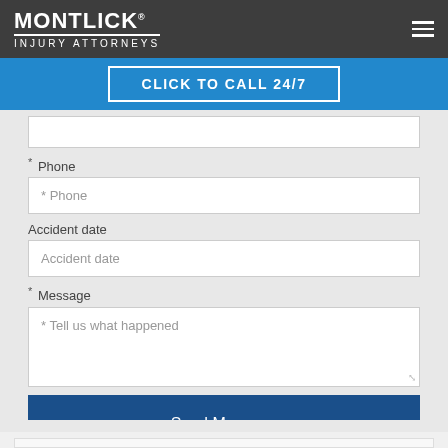[Figure (logo): Montlick Injury Attorneys logo — white text on dark gray background with hamburger menu icon]
CLICK TO CALL 24/7
* Phone
* Phone (placeholder)
Accident date
Accident date (placeholder)
* Message
* Tell us what happened
Send Message